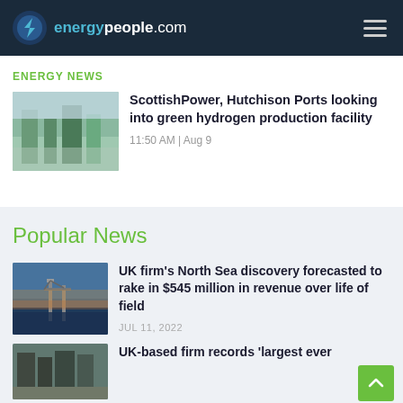energypeople.com
ENERGY NEWS
[Figure (photo): Industrial facility with green structures and buildings under cloudy sky]
ScottishPower, Hutchison Ports looking into green hydrogen production facility
11:50 AM | Aug 9
Popular News
[Figure (photo): Offshore oil rig platform at sunset with dramatic sky]
UK firm's North Sea discovery forecasted to rake in $545 million in revenue over life of field
JUL 11, 2022
[Figure (photo): Industrial energy infrastructure]
UK-based firm records 'largest ever